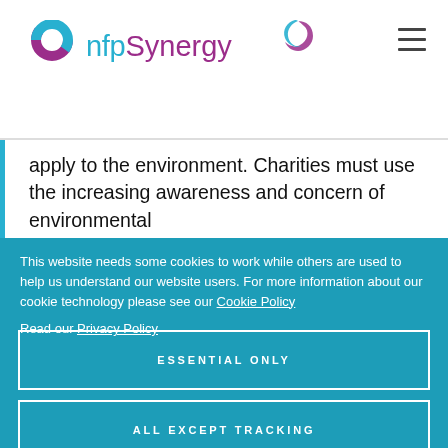nfpSynergy
apply to the environment. Charities must use the increasing awareness and concern of environmental
This website needs some cookies to work while others are used to help us understand our website users. For more information about our cookie technology please see our Cookie Policy

Read our Privacy Policy
ESSENTIAL ONLY
ALL EXCEPT TRACKING
ACCEPT ALL COOKIES